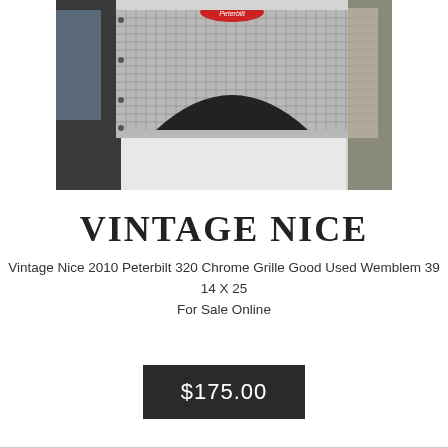[Figure (photo): Photo of a 2010 Peterbilt 320 Chrome Grille with Peterbilt emblem, showing chrome grid pattern and arched lower section]
VINTAGE NICE
Vintage Nice 2010 Peterbilt 320 Chrome Grille Good Used Wemblem 39 14 X 25 For Sale Online
$175.00